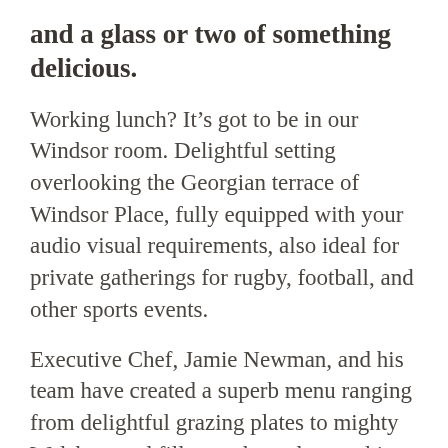and a glass or two of something delicious.
Working lunch? It's got to be in our Windsor room. Delightful setting overlooking the Georgian terrace of Windsor Place, fully equipped with your audio visual requirements, also ideal for private gatherings for rugby, football, and other sports events.
Executive Chef, Jamie Newman, and his team have created a superb menu ranging from delightful grazing plates to mighty Welsh-reared fillet steaks and everything wonderful in between!
As an aperitif we recommend a chilled glass